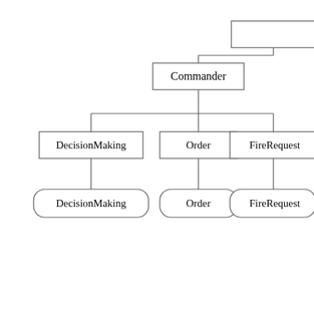[Figure (organizational-chart): Hierarchical organizational chart showing Commander at top, with three children: DecisionMaking, Order, FireRequest. Each child connects to a rounded-rectangle node below: DecisionMaking, Order, FireRequest respectively. There is also a box partially visible at top-right connected to Commander.]